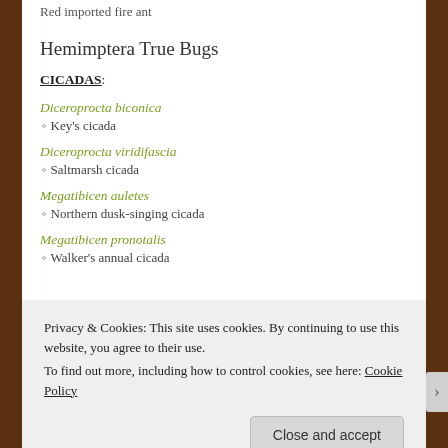Red imported fire ant
Hemimptera True Bugs
CICADAS:
Diceroprocta biconica
◦ Key's cicada
Diceroprocta viridifascia
◦ Saltmarsh cicada
Megatibicen auletes
◦ Northern dusk-singing cicada
Megatibicen pronotalis
◦ Walker's annual cicada
Privacy & Cookies: This site uses cookies. By continuing to use this website, you agree to their use.
To find out more, including how to control cookies, see here: Cookie Policy